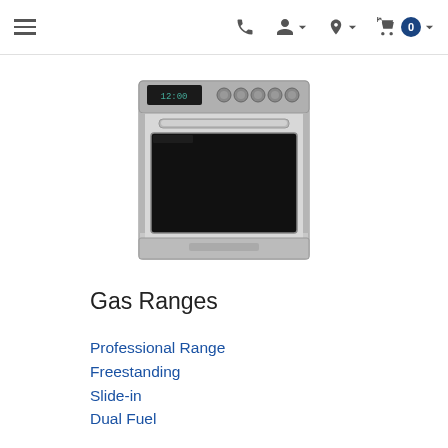Navigation header with menu, phone, account, location, and cart icons
[Figure (photo): Stainless steel gas range/oven appliance product image]
Gas Ranges
Professional Range
Freestanding
Slide-in
Dual Fuel
Specialty Ranges
Rebates
View All